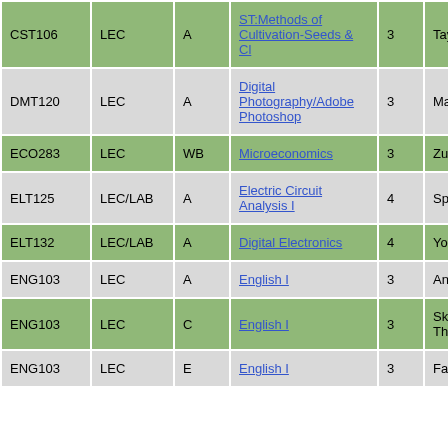| Course | Type | Sec | Name | Cr | Instructor |
| --- | --- | --- | --- | --- | --- |
| CST106 | LEC | A | ST:Methods of Cultivation-Seeds & Cl | 3 | Taylor, Ryan |
| DMT120 | LEC | A | Digital Photography/Adobe Photoshop | 3 | Marcuccio, Joseph |
| ECO283 | LEC | WB | Microeconomics | 3 | Zuckerman, Lauren |
| ELT125 | LEC/LAB | A | Electric Circuit Analysis I | 4 | Spraggs, Jeremy |
| ELT132 | LEC/LAB | A | Digital Electronics | 4 | Young, Roger |
| ENG103 | LEC | A | English I | 3 | Andersson, Lena |
| ENG103 | LEC | C | English I | 3 | Skowronek, Thomas |
| ENG103 | LEC | E | English I | 3 | Fagan, Louis |